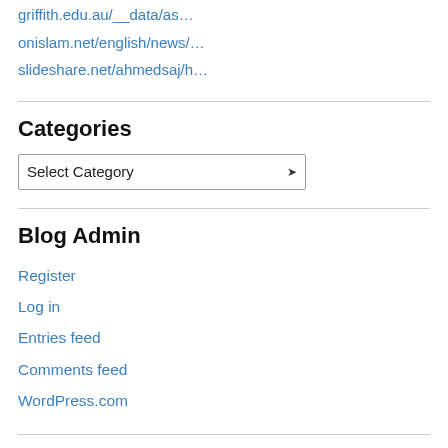griffith.edu.au/__data/as…
onislam.net/english/news/…
slideshare.net/ahmedsaj/h…
Categories
[Figure (screenshot): A dropdown select box with 'Select Category' placeholder and a chevron arrow on the right]
Blog Admin
Register
Log in
Entries feed
Comments feed
WordPress.com
Follow THe Islamic Workplace on Twitter